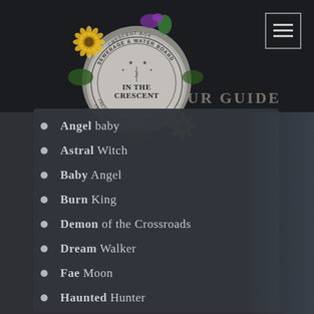[Figure (logo): Circular logo for 'In The Crescent' / 'Sewerage & Water Board Crescent Box' with decorative sunflowers, green foliage, and Mardi Gras colors. Text around ring reads: SEWERAGE & WATER BOARD, CRESCENT BOX, IN THE CRESCENT, FRENCH QUARTER / VIEUX CARRE, LAISSEZ LES BON TEMPS ROULER]
OUR GUIDE
Angel Baby
Astral Witch
Baby Angel
Burn King
Demon of the Crossroads
Dream Walker
Fae Moon
Haunted Hunter
Ocean Protector
Roots and Circle
Rougarou